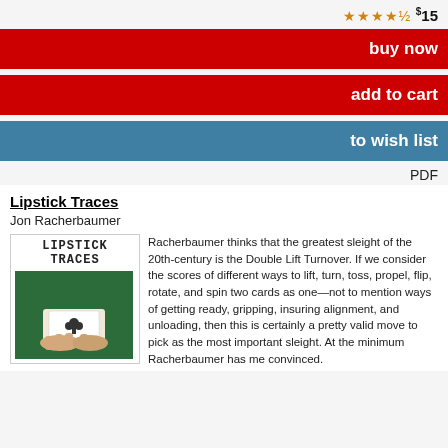★★★★½ $15
buy now
add to cart
to wish list
PDF
Lipstick Traces
Jon Racherbaumer
[Figure (photo): Book cover of Lipstick Traces showing hands holding playing cards on a green surface]
Racherbaumer thinks that the greatest sleight of the 20th-century is the Double Lift Turnover. If we consider the scores of different ways to lift, turn, toss, propel, flip, rotate, and spin two cards as one—not to mention ways of getting ready, gripping, insuring alignment, and unloading, then this is certainly a pretty valid move to pick as the most important sleight. At the minimum Racherbaumer has me convinced.